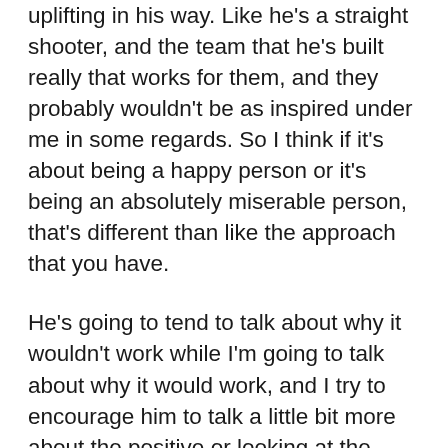uplifting in his way. Like he's a straight shooter, and the team that he's built really that works for them, and they probably wouldn't be as inspired under me in some regards. So I think if it's about being a happy person or it's being an absolutely miserable person, that's different than like the approach that you have.
He's going to tend to talk about why it wouldn't work while I'm going to talk about why it would work, and I try to encourage him to talk a little bit more about the positive or looking at the bright side, and he tries to tell me or teach me how to look a little bit more at the negative side as well, you know what I mean, and that's fine, and I think there is some truth to everything can't always be wonderful and always be positive and always going to work, but how we approach things is very different but that doesn't make me, because I think I'm so focused on positivity, it doesn't make me better of a leader than him because we just have different styles, you know.